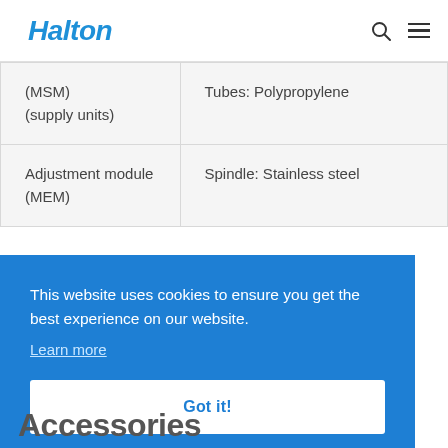Halton
| (MSM)
(supply units) | Tubes: Polypropylene |
| Adjustment module
(MEM) | Spindle: Stainless steel |
This website uses cookies to ensure you get the best experience on our website.
Learn more
Got it!
Accessories